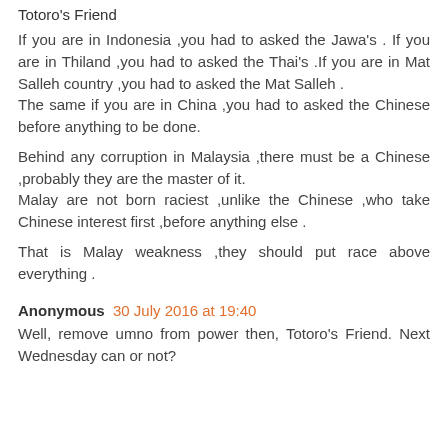Totoro's Friend
If you are in Indonesia ,you had to asked the Jawa's . If you are in Thiland ,you had to asked the Thai's .If you are in Mat Salleh country ,you had to asked the Mat Salleh .
The same if you are in China ,you had to asked the Chinese before anything to be done.
Behind any corruption in Malaysia ,there must be a Chinese ,probably they are the master of it.
Malay are not born raciest ,unlike the Chinese ,who take Chinese interest first ,before anything else .
That is Malay weakness ,they should put race above everything .
Anonymous  30 July 2016 at 19:40
Well, remove umno from power then, Totoro's Friend. Next Wednesday can or not?